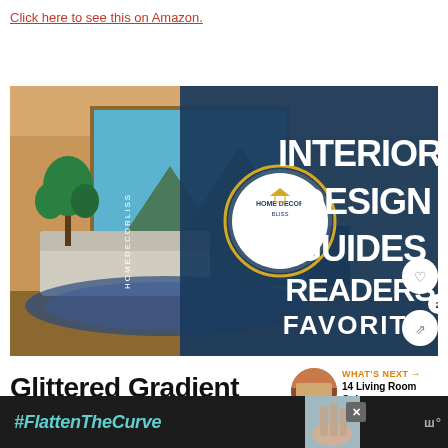Click here to see this on Amazon.
[Figure (illustration): Interior design guides readers favorite promotional image showing a modern living room with large windows, mountains view, sofa, plant, and decorative rug. Right side shows dark blue circular overlay with text INTERIOR DESIGN GUIDES READERS FAVORIT and Home Decor Bliss logo.]
Glittered Gradient
[Figure (infographic): What's Next panel showing a round thumbnail of a living room and text: 14 Living Room Color...]
[Figure (photo): Ad banner with dark background showing #FlattenTheCurve text in teal italic font, with a photo of hands washing and a close button X]